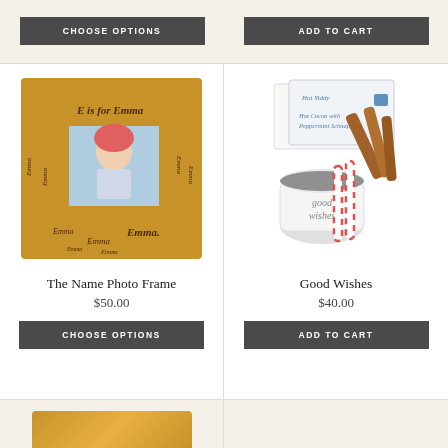[Figure (other): CHOOSE OPTIONS button (dark gray) for a product in left column]
[Figure (other): ADD TO CART button (dark gray) for a product in right column]
[Figure (photo): Personalized wooden photo frame with 'E is for Emma' engraved with child's photo inside]
The Name Photo Frame
$50.00
[Figure (other): CHOOSE OPTIONS button for The Name Photo Frame]
[Figure (photo): Good Wishes gift set with white mug saying 'good wishes', candy canes, cinnamon sticks, and recipe cards]
Good Wishes
$40.00
[Figure (other): ADD TO CART button for Good Wishes]
[Figure (other): Partial view of a third product at the bottom of the page (wooden/brown item)]